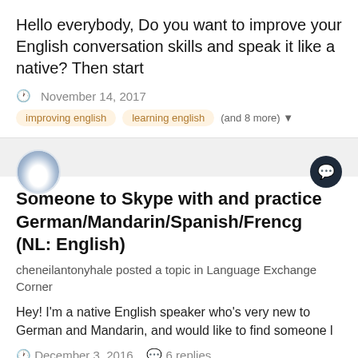Hello everybody, Do you want to improve your English conversation skills and speak it like a native? Then start
November 14, 2017
improving english
learning english
(and 8 more)
[Figure (photo): User avatar - circular profile photo showing a figure]
[Figure (other): Dark circular chat/message button icon]
Someone to Skype with and practice German/Mandarin/Spanish/Frencg (NL: English)
cheneilantonyhale posted a topic in Language Exchange Corner
Hey! I'm a native English speaker who's very new to German and Mandarin, and would like to find someone l
December 3, 2016
6 replies
german
english
(and 7 more)